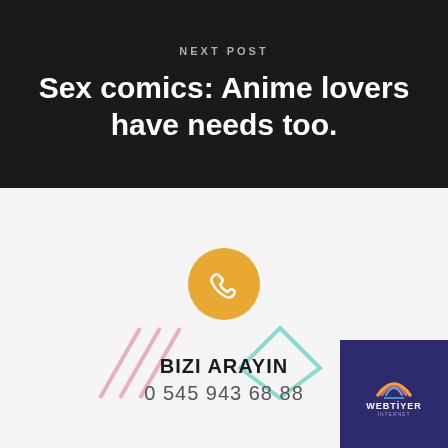NEXT POST
Sex comics: Anime lovers have needs too.
[Figure (illustration): Golden/orange circular phone icon with white handset symbol]
[Figure (illustration): Decorative pink diagonal lines and teal/mint diamond outline shapes]
BIZI ARAYIN
0 545 943 68 88
[Figure (logo): WEBTİYER logo on dark purple/navy square background with rainbow arc icon]